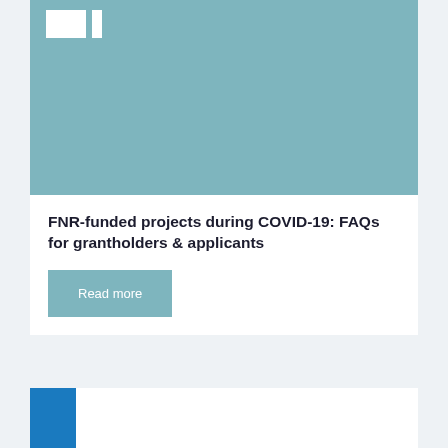[Figure (photo): Teal/blue-green banner image with white FNR logo in top-left corner]
FNR-funded projects during COVID-19: FAQs for grantholders & applicants
Read more